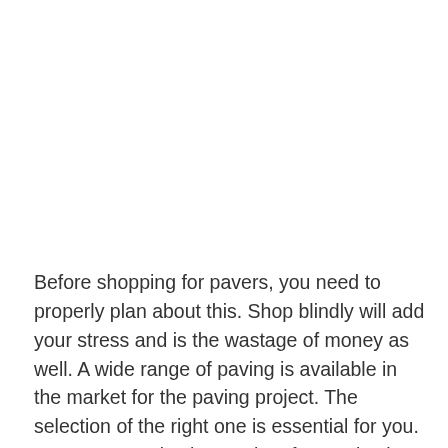Before shopping for pavers, you need to properly plan about this. Shop blindly will add your stress and is the wastage of money as well. A wide range of paving is available in the market for the paving project. The selection of the right one is essential for you. Some companies have a lot of expertise in paving material and have a better idea to know about this. You need to learn all the techniques and materials that have to apply in front